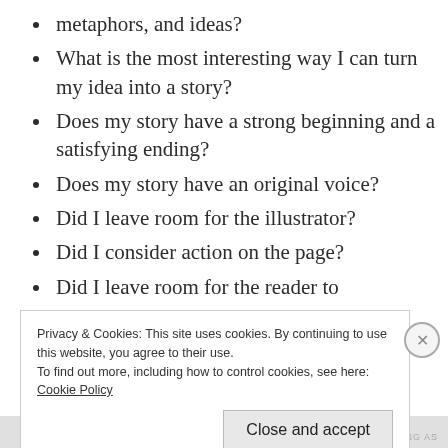metaphors, and ideas?
What is the most interesting way I can turn my idea into a story?
Does my story have a strong beginning and a satisfying ending?
Does my story have an original voice?
Did I leave room for the illustrator?
Did I consider action on the page?
Did I leave room for the reader to
Privacy & Cookies: This site uses cookies. By continuing to use this website, you agree to their use.
To find out more, including how to control cookies, see here:
Cookie Policy
Close and accept